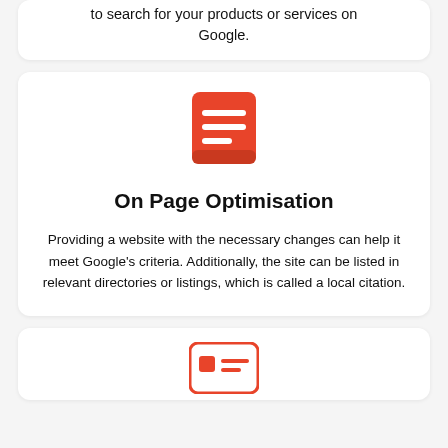to search for your products or services on Google.
[Figure (illustration): Orange/red document icon with text lines]
On Page Optimisation
Providing a website with the necessary changes can help it meet Google's criteria. Additionally, the site can be listed in relevant directories or listings, which is called a local citation.
[Figure (illustration): Orange/red card/credential icon with lines]